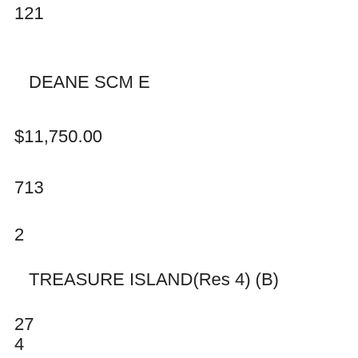121
DEANE SCM E
$11,750.00
713
2
TREASURE ISLAND(Res 4) (B)
27
4